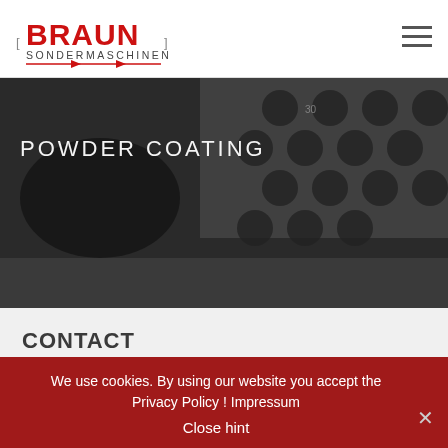BRAUN SONDERMASCHINEN
[Figure (photo): Black and white close-up photo of powder coating machine parts with circular perforations, overlaid with 'POWDER COATING' text]
CONTACT
Braun Sondermaschinen GmbH
Dieselstraße 8
D-77833 Ottersweier
Tel.: +49 (0)7223 9802-0
Fax: +49 (0)7223 9802-20
We use cookies. By using our website you accept the Privacy Policy ! Impressum
Close hint